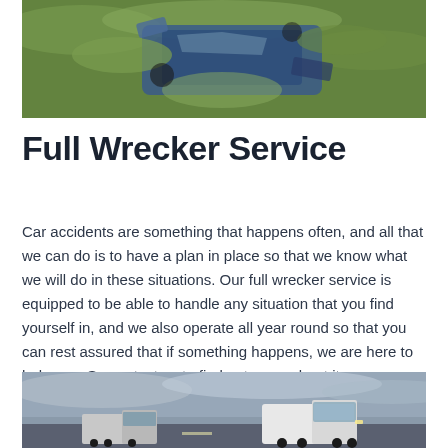[Figure (photo): Aerial view of a wrecked blue vehicle lying on its side in green grass]
Full Wrecker Service
Car accidents are something that happens often, and all that we can do is to have a plan in place so that we know what we will do in these situations. Our full wrecker service is equipped to be able to handle any situation that you find yourself in, and we also operate all year round so that you can rest assured that if something happens, we are here to help you. So contact us to find out more about it.
[Figure (photo): Two large semi-trucks on a highway under a cloudy sky]